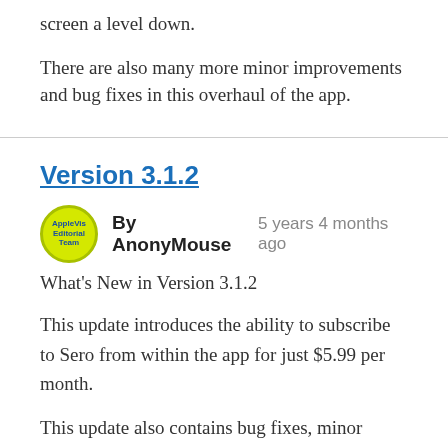screen a level down.
There are also many more minor improvements and bug fixes in this overhaul of the app.
Version 3.1.2
By AnonyMouse  5 years 4 months ago
What's New in Version 3.1.2
This update introduces the ability to subscribe to Sero from within the app for just $5.99 per month.
This update also contains bug fixes, minor